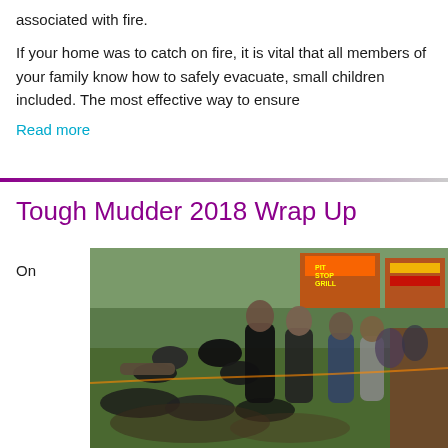associated with fire.
If your home was to catch on fire, it is vital that all members of your family know how to safely evacuate, small children included. The most effective way to ensure
Read more
Tough Mudder 2018 Wrap Up
On
[Figure (photo): Group of people participating in a Tough Mudder event, helping each other through a muddy obstacle course. Fairground attractions visible in background.]